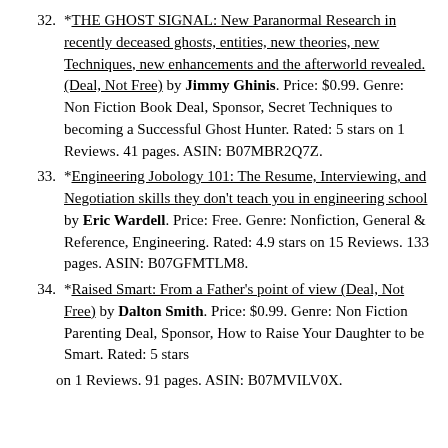32. *THE GHOST SIGNAL: New Paranormal Research in recently deceased ghosts, entities, new theories, new Techniques, new enhancements and the afterworld revealed. (Deal, Not Free) by Jimmy Ghinis. Price: $0.99. Genre: Non Fiction Book Deal, Sponsor, Secret Techniques to becoming a Successful Ghost Hunter. Rated: 5 stars on 1 Reviews. 41 pages. ASIN: B07MBR2Q7Z.
33. *Engineering Jobology 101: The Resume, Interviewing, and Negotiation skills they don't teach you in engineering school by Eric Wardell. Price: Free. Genre: Nonfiction, General & Reference, Engineering. Rated: 4.9 stars on 15 Reviews. 133 pages. ASIN: B07GFMTLM8.
34. *Raised Smart: From a Father's point of view (Deal, Not Free) by Dalton Smith. Price: $0.99. Genre: Non Fiction Parenting Deal, Sponsor, How to Raise Your Daughter to be Smart. Rated: 5 stars on 1 Reviews. 91 pages. ASIN: B07MVILV0X.